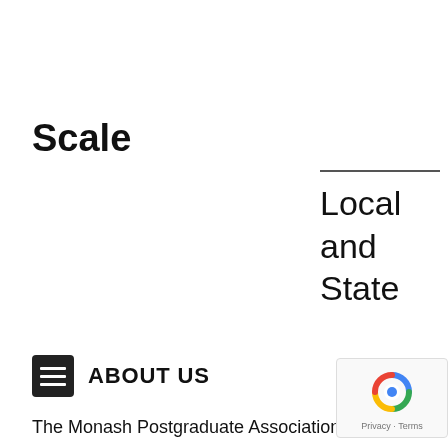Scale
Local and State
ABOUT US
The Monash Postgraduate Association (MPA) is